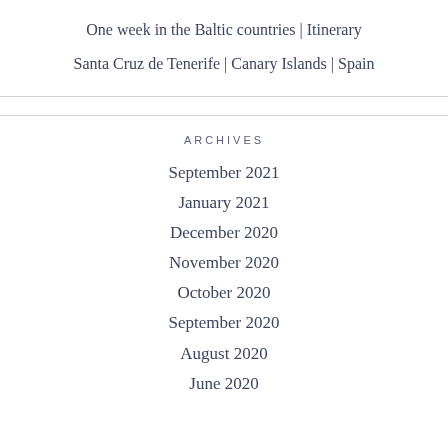One week in the Baltic countries | Itinerary
Santa Cruz de Tenerife | Canary Islands | Spain
ARCHIVES
September 2021
January 2021
December 2020
November 2020
October 2020
September 2020
August 2020
June 2020